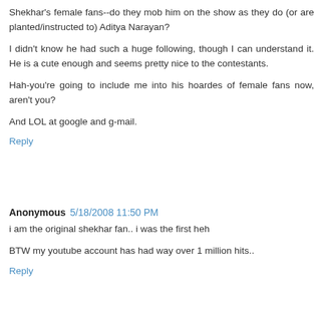Shekhar's female fans--do they mob him on the show as they do (or are planted/instructed to) Aditya Narayan?
I didn't know he had such a huge following, though I can understand it. He is a cute enough and seems pretty nice to the contestants.
Hah-you're going to include me into his hoardes of female fans now, aren't you?
And LOL at google and g-mail.
Reply
Anonymous 5/18/2008 11:50 PM
i am the original shekhar fan.. i was the first heh
BTW my youtube account has had way over 1 million hits..
Reply